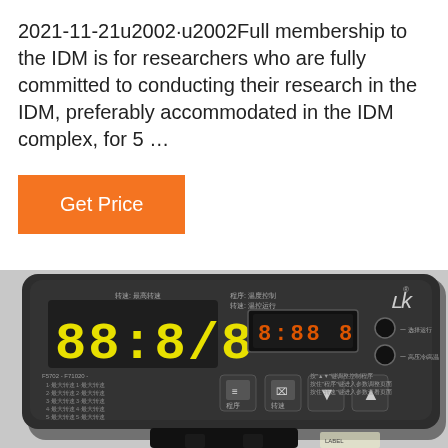2021-11-21u2002·u2002Full membership to the IDM is for researchers who are fully committed to conducting their research in the IDM, preferably accommodated in the IDM complex, for 5 …
Get Price
[Figure (photo): Photo of an electronic control panel of a laboratory centrifuge, showing a dark grey panel with digital displays showing '88:8/8' and a secondary rectangular LCD display. Panel has Chinese text labels, function buttons including square icons with arrows (up/down), and a logo in the upper right. The device is mounted on a stand visible at the bottom.]